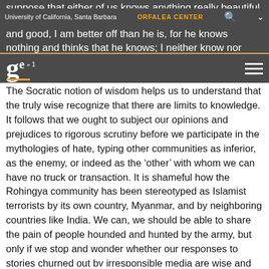suppose that either of us knows anything really beautiful and good, I am better off than he is, for he knows nothing and thinks that he knows; I neither know nor think that I know.” ¹
University of California, Santa Barbara | ORFALEA CENTER
The Socratic notion of wisdom helps us to understand that the truly wise recognize that there are limits to knowledge. It follows that we ought to subject our opinions and prejudices to rigorous scrutiny before we participate in the mythologies of hate, typing other communities as inferior, as the enemy, or indeed as the ‘other’ with whom we can have no truck or transaction. It is shameful how the Rohingya community has been stereotyped as Islamist terrorists by its own country, Myanmar, and by neighboring countries like India. We can, we should be able to share the pain of people hounded and hunted by the army, but only if we stop and wonder whether our responses to stories churned out by irresponsible media are wise and prudent.